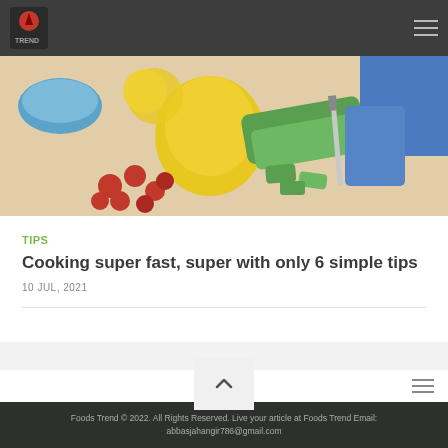[Figure (logo): Foods Trend logo with red chef hat icon and text]
[Figure (photo): Person cutting green bell pepper on wooden cutting board with cherry tomatoes and yellow bell pepper in background]
TIPS
Cooking super fast, super with only 6 simple tips
10 JUL, 2021
Foods Trend © 2022. All Rights Reserved. Live your article at Foods Trend Email: abbasjahangir786@gmail.com